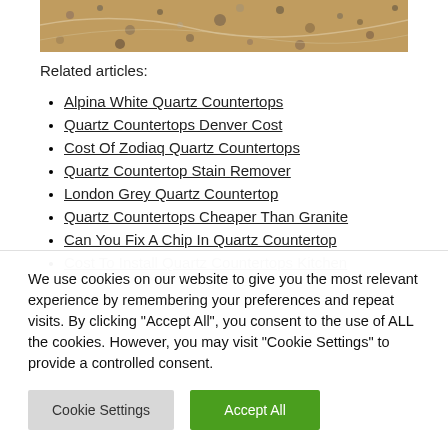[Figure (photo): Granite countertop texture image cropped at top of page]
Related articles:
Alpina White Quartz Countertops
Quartz Countertops Denver Cost
Cost Of Zodiaq Quartz Countertops
Quartz Countertop Stain Remover
London Grey Quartz Countertop
Quartz Countertops Cheaper Than Granite
Can You Fix A Chip In Quartz Countertop
Cost To Install Quartz Countertops Kitchen
We use cookies on our website to give you the most relevant experience by remembering your preferences and repeat visits. By clicking "Accept All", you consent to the use of ALL the cookies. However, you may visit "Cookie Settings" to provide a controlled consent.